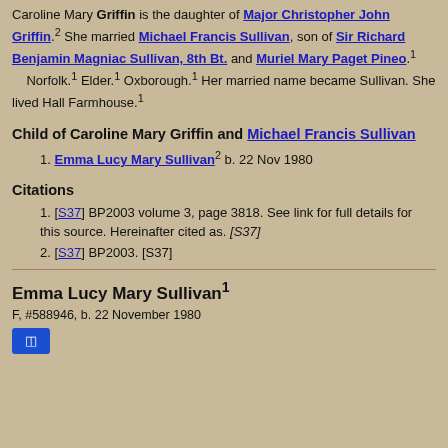Caroline Mary Griffin is the daughter of Major Christopher John Griffin.2 She married Michael Francis Sullivan, son of Sir Richard Benjamin Magniac Sullivan, 8th Bt. and Muriel Mary Paget Pineo.1 Norfolk.1 Elder.1 Oxborough.1 Her married name became Sullivan. She lived Hall Farmhouse.1
Child of Caroline Mary Griffin and Michael Francis Sullivan
1. Emma Lucy Mary Sullivan2 b. 22 Nov 1980
Citations
1. [S37] BP2003 volume 3, page 3818. See link for full details for this source. Hereinafter cited as. [S37]
2. [S37] BP2003. [S37]
Emma Lucy Mary Sullivan1
F, #588946, b. 22 November 1980